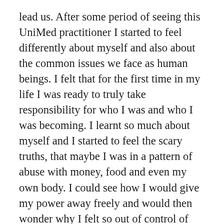lead us. After some period of seeing this UniMed practitioner I started to feel differently about myself and also about the common issues we face as human beings. I felt that for the first time in my life I was ready to truly take responsibility for who I was and who I was becoming. I learnt so much about myself and I started to feel the scary truths, that maybe I was in a pattern of abuse with money, food and even my own body. I could see how I would give my power away freely and would then wonder why I felt so out of control of my life.
The first time I met Serge Benhayon I felt a lot move inside me. I felt in some ways all this man was saying made perfect sense, I couldn't believe I hadn't seen it that way before; then on the other hand I didn't want to believe what Serge was